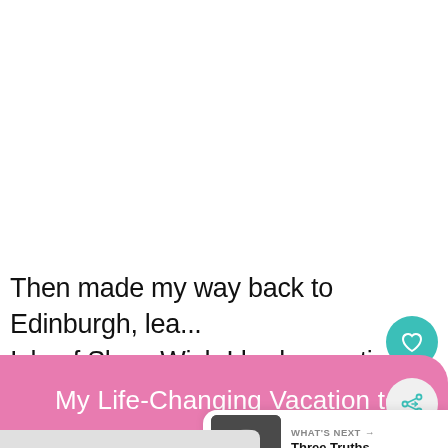Then made my way back to Edinburgh, lea... Isle of Skye. Wish I had more time here.
[Figure (screenshot): Pink navigation bar with teal left border showing 'My Life-Changing Vacation to S...' with a teal heart button, a share button, and a 'WHAT'S NEXT' card showing 'Three Truths about Typica...' with a thumbnail image]